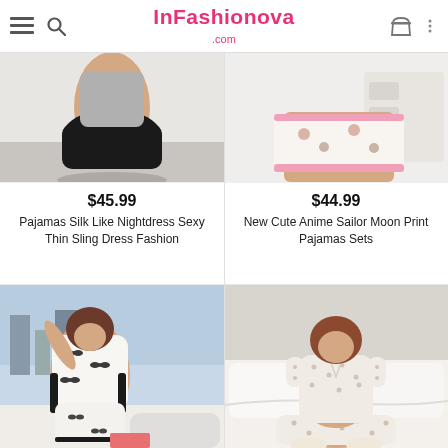InFashionova .com
[Figure (photo): Torso of a woman wearing a black silk slip mini dress/nightdress, cropped at waist down]
[Figure (photo): Lower body of a person wearing cute anime/cartoon print pajama shorts with pink trim, standing near white furniture]
$45.99
Pajamas Silk Like Nightdress Sexy Thin Sling Dress Fashion
$44.99
New Cute Anime Sailor Moon Print Pajamas Sets
[Figure (photo): Woman sitting by a large window wearing white pajama set with black bow print, wide sleeves with black trim]
[Figure (photo): Woman sitting on a white bed wearing beige/cream floral dot print short-sleeve button-up pajama set]